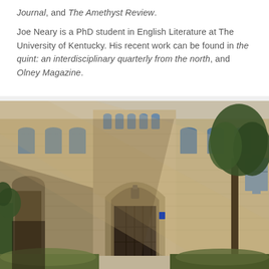Journal, and The Amethyst Review.

Joe Neary is a PhD student in English Literature at The University of Kentucky. His recent work can be found in the quint: an interdisciplinary quarterly from the north, and Olney Magazine.
[Figure (photo): A photograph of a Gothic stone university building entrance with an arched gateway, ornate stonework, tall windows with tracery, ivy on walls, and sunlight casting diagonal shadows across the facade. A tree is visible on the right side.]